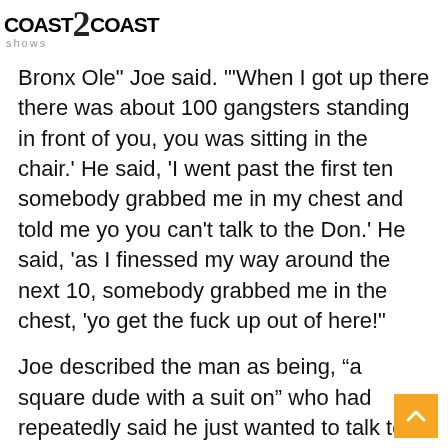COAST2COAST shows
Bronx Ole" Joe said. "'When I got up there there was about 100 gangsters standing in front of you, you was sitting in the chair.' He said, 'I went past the first ten somebody grabbed me in my chest and told me yo you can't talk to the Don.' He said, 'as I finessed my way around the next 10, somebody grabbed me in the chest, 'yo get the fuck up out of here!'"
Joe described the man as being, “a square dude with a suit on” who had repeatedly said he just wanted to talk to “Mr. Fat Joe.”
“He said, ‘I had a check for $2 million in my pocket, and I was looking at you and I couldn’t get to you.’ So I told that story to Tekashi. I said, ‘Listen when you got 100 n-ggas with you, you think this is keeping it real but you scaring the money. When you